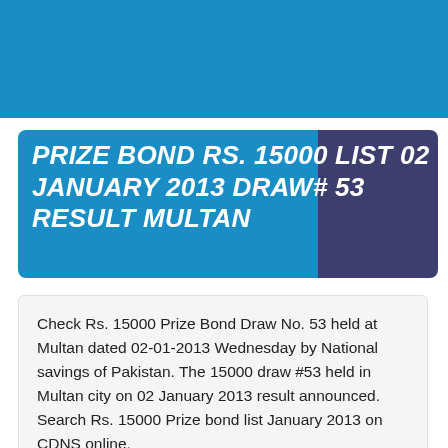[Figure (other): Blue banner header image at the top of the page]
PRIZE BOND RS. 15000 LIST 02 JANUARY 2013 DRAW# 53 RESULT MULTAN
Check Rs. 15000 Prize Bond Draw No. 53 held at Multan dated 02-01-2013 Wednesday by National savings of Pakistan. The 15000 draw #53 held in Multan city on 02 January 2013 result announced. Search Rs. 15000 Prize bond list January 2013 on CDNS online.
The 1st winner of Rs. 15000 Prize bond Multan Draw